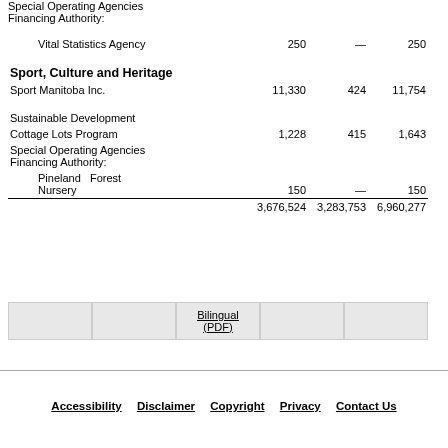Special Operating Agencies Financing Authority:
|  |  |  |  |
| --- | --- | --- | --- |
| Vital Statistics Agency | 250 | — | 250 |
| Sport, Culture and Heritage |  |  |  |
| Sport Manitoba Inc. | 11,330 | 424 | 11,754 |
| Sustainable Development |  |  |  |
| Cottage Lots Program | 1,228 | 415 | 1,643 |
| Special Operating Agencies Financing Authority: |  |  |  |
|   Pineland Forest Nursery | 150 | — | 150 |
|  | 3,676,524 | 3,283,753 | 6,960,277 |
[Figure (other): Bilingual (PDF) navigation button bar with 5 cells, middle cell showing Bilingual (PDF) link]
Accessibility   Disclaimer   Copyright   Privacy   Contact Us